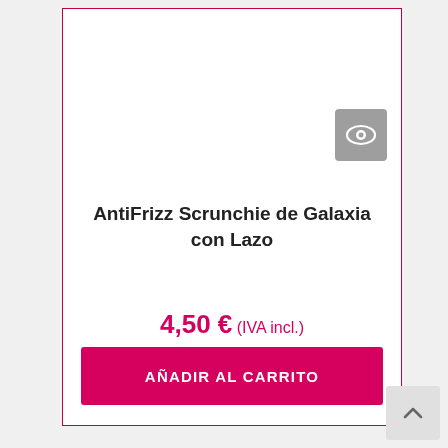[Figure (screenshot): Eye/quick-view icon button — grey rounded square with white eye icon]
AntiFrizz Scrunchie de Galaxia con Lazo
4,50 € (IVA incl.)
AÑADIR AL CARRITO